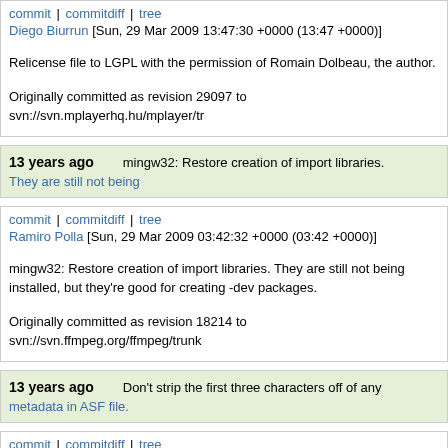commit | commitdiff | tree
Diego Biurrun [Sun, 29 Mar 2009 13:47:30 +0000 (13:47 +0000)]
Relicense file to LGPL with the permission of Romain Dolbeau, the author.

Originally committed as revision 29097 to svn://svn.mplayerhq.hu/mplayer/tr
13 years ago   mingw32: Restore creation of import libraries.
They are still not being
commit | commitdiff | tree
Ramiro Polla [Sun, 29 Mar 2009 03:42:32 +0000 (03:42 +0000)]
mingw32: Restore creation of import libraries. They are still not being installed, but they're good for creating -dev packages.

Originally committed as revision 18214 to svn://svn.ffmpeg.org/ffmpeg/trunk
13 years ago   Don't strip the first three characters off of any metadata in ASF file.
commit | commitdiff | tree